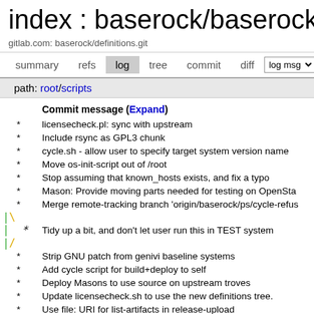index : baserock/baserock/de
gitlab.com: baserock/definitions.git
summary  refs  log  tree  commit  diff  [log msg ▼]
path: root/scripts
Commit message (Expand)
* licensecheck.pl: sync with upstream
* Include rsync as GPL3 chunk
* cycle.sh - allow user to specify target system version name
* Move os-init-script out of /root
* Stop assuming that known_hosts exists, and fix a typo
* Mason: Provide moving parts needed for testing on OpenSta
* Merge remote-tracking branch 'origin/baserock/ps/cycle-refus
* Tidy up a bit, and don't let user run this in TEST system
* Strip GNU patch from genivi baseline systems
* Add cycle script for build+deploy to self
* Deploy Masons to use source on upstream troves
* Update licensecheck.sh to use the new definitions tree.
* Use file: URI for list-artifacts in release-upload